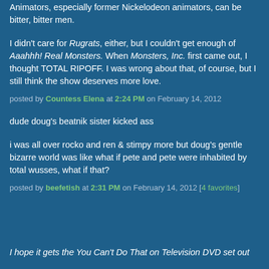Animators, especially former Nickelodeon animators, can be bitter, bitter men.
I didn't care for Rugrats, either, but I couldn't get enough of Aaahhh! Real Monsters. When Monsters, Inc. first came out, I thought TOTAL RIPOFF. I was wrong about that, of course, but I still think the show deserves more love.
posted by Countess Elena at 2:24 PM on February 14, 2012
dude doug's beatnik sister kicked ass
i was all over rocko and ren & stimpy more but doug's gentle bizarre world was like what if pete and pete were inhabited by total wusses, what if that?
posted by beefetish at 2:31 PM on February 14, 2012 [4 favorites]
I hope it gets the You Can't Do That on Television DVD set out